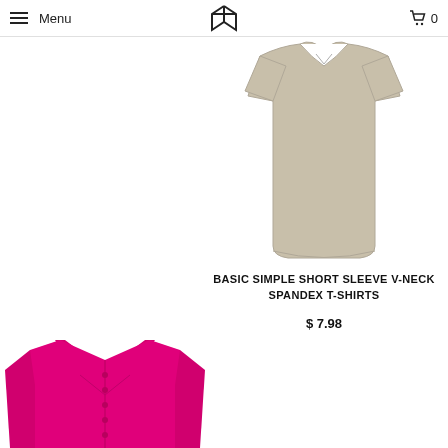Menu | [logo] | 0
[Figure (photo): Beige/cream v-neck short sleeve t-shirt product photo on white background]
BASIC SIMPLE SHORT SLEEVE V-NECK SPANDEX T-SHIRTS
$ 7.98
[Figure (photo): Hot pink/magenta button-up long sleeve satin shirt product photo, partially visible, cropped at bottom]